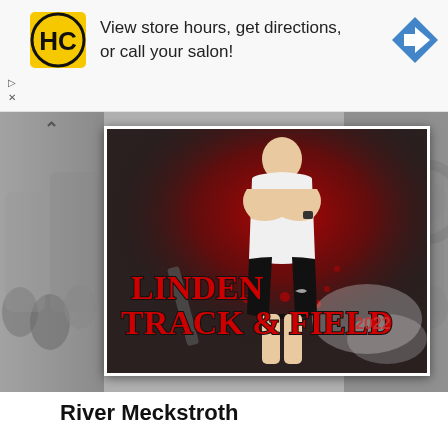[Figure (photo): HC salon advertisement banner with HC logo, text 'View store hours, get directions, or call your salon!', and a blue navigation arrow icon]
[Figure (photo): Athlete photo: person standing with arms crossed wearing white jersey reading 'LINDEN' and black shorts. Background has red/black artistic smoke/powder explosion effect. Text overlay reads 'LINDEN TRACK & FIELD 2022' in large red letters with black outline.]
River Meckstroth